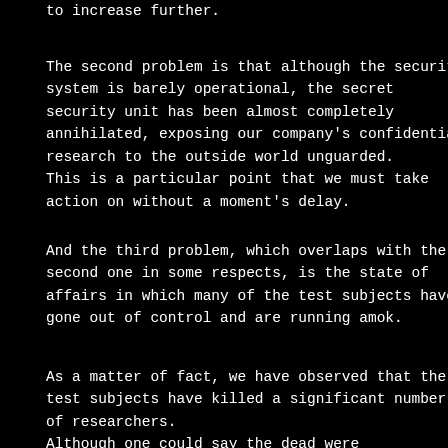to increase further.
The second problem is that although the security system is barely operational, the secret security unit has been almost completely annihilated, exposing our company's confidential research to the outside world unguarded. This is a particular point that we must take action on without a moment's delay.
And the third problem, which overlaps with the second one in some respects, is the state of affairs in which many of the test subjects have gone out of control and are running amok.
As a matter of fact, we have observed that the test subjects have killed a significant number of researchers. Although one could say the dead were appropriately slaughtered and